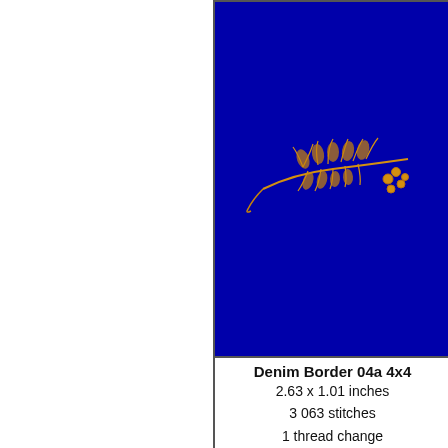[Figure (illustration): Embroidery design on dark blue background: golden/orange fern leaf motif labeled 'Denim Border 04a 4x4']
Denim Border 04a 4x4
2.63 x 1.01 inches
3 063 stitches
1 thread change
[Figure (illustration): Partial view of another embroidery design on dark blue background (right side cut off)]
[Figure (illustration): Embroidery design on dark blue background: golden/orange repeating border motif with floral/leaf elements and swirling vines]
[Figure (illustration): Partial view of another embroidery design on dark blue background (right side cut off)]